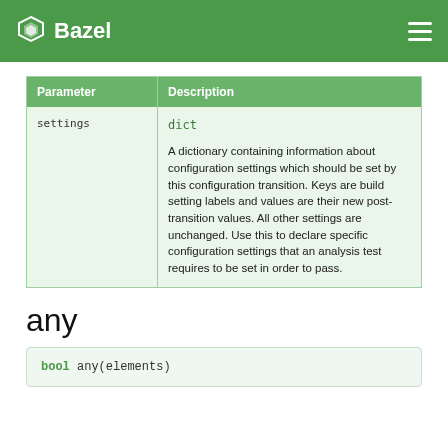Bazel
| Parameter | Description |
| --- | --- |
| settings | dict

A dictionary containing information about configuration settings which should be set by this configuration transition. Keys are build setting labels and values are their new post-transition values. All other settings are unchanged. Use this to declare specific configuration settings that an analysis test requires to be set in order to pass. |
any
bool any(elements)